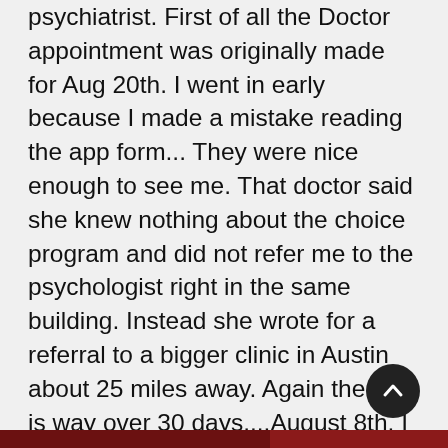psychiatrist. First of all the Doctor appointment was originally made for Aug 20th. I went in early because I made a mistake reading the app form... They were nice enough to see me. That doctor said she knew nothing about the choice program and did not refer me to the psychologist right in the same building. Instead she wrote for a referral to a bigger clinic in Austin about 25 miles away. Again the wait is way over 30 days....August 8th. I plan on going and asking about the choice program and getting back on it. I am a vet and I have been with the VA for many years. Many times now I use Medicare to save room for seriously ill vets getting an appointment. Please figure this out for me and let me know there is some organization to this care or the lack of it. I go to the VA in Cedar Park and my next appointment is at the Austin VA clinic.